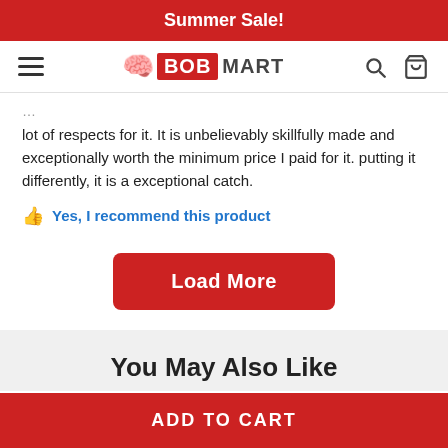Summer Sale!
[Figure (logo): BobMart logo with hamburger menu, search icon, and cart icon in navigation bar]
lot of respects for it. It is unbelievably skillfully made and exceptionally worth the minimum price I paid for it. putting it differently, it is a exceptional catch.
Yes, I recommend this product
Load More
You May Also Like
ADD TO CART